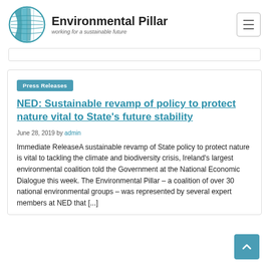Environmental Pillar — working for a sustainable future
Press Releases
NED: Sustainable revamp of policy to protect nature vital to State's future stability
June 28, 2019 by admin
Immediate ReleaseA sustainable revamp of State policy to protect nature is vital to tackling the climate and biodiversity crisis, Ireland's largest environmental coalition told the Government at the National Economic Dialogue this week. The Environmental Pillar – a coalition of over 30 national environmental groups – was represented by several expert members at NED that [...]